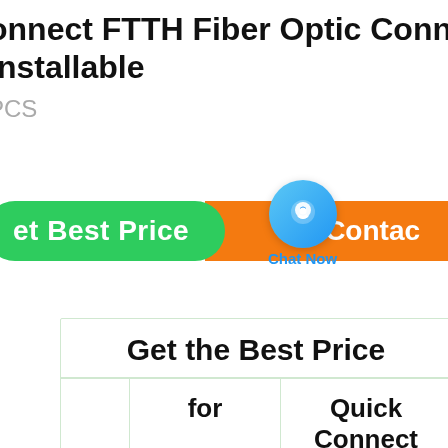onnect FTTH Fiber Optic Connect Installable
PCS
[Figure (screenshot): Green 'Get Best Price' button on the left, blue chat bubble 'Chat Now' in the center, and orange 'Contact' button on the right]
|  | Get the Best Price |  |
| --- | --- | --- |
|  | for | Quick Connect |